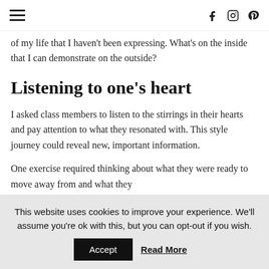hamburger menu icon, social icons: f, instagram, pinterest
of my life that I haven't been expressing. What's on the inside that I can demonstrate on the outside?
Listening to one's heart
I asked class members to listen to the stirrings in their hearts and pay attention to what they resonated with. This style journey could reveal new, important information.
One exercise required thinking about what they were ready to move away from and what they
This website uses cookies to improve your experience. We'll assume you're ok with this, but you can opt-out if you wish. Accept Read More